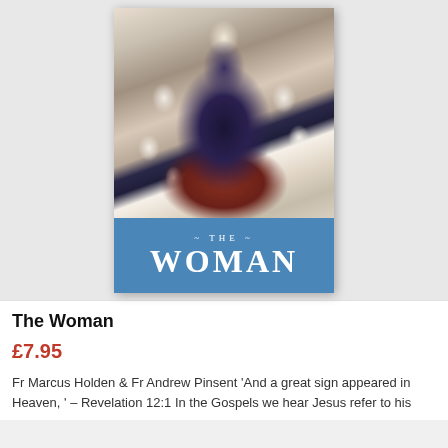[Figure (illustration): Book cover of 'The Woman' showing a religious painting of the Virgin Mary holding the Christ child, surrounded by angels in white robes. The lower portion has a blue banner with the title '~ THE ~ WOMAN' in white serif lettering.]
The Woman
£7.95
Fr Marcus Holden & Fr Andrew Pinsent 'And a great sign appeared in Heaven, ' – Revelation 12:1 In the Gospels we hear Jesus refer to his